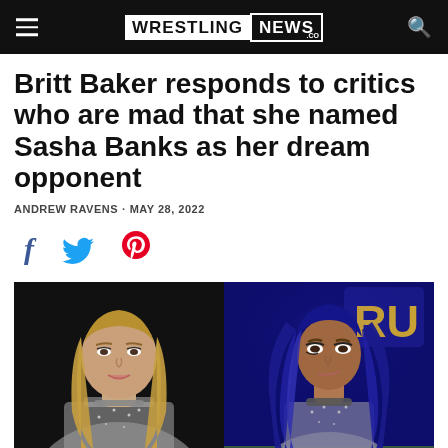WRESTLING NEWS .CO
Britt Baker responds to critics who are mad that she named Sasha Banks as her dream opponent
ANDREW RAVENS · MAY 28, 2022
[Figure (photo): Side-by-side photos: left shows Britt Baker in silver ring gear against black background; right shows Sasha Banks with blue hair in silver outfit against blue/yellow event backdrop.]